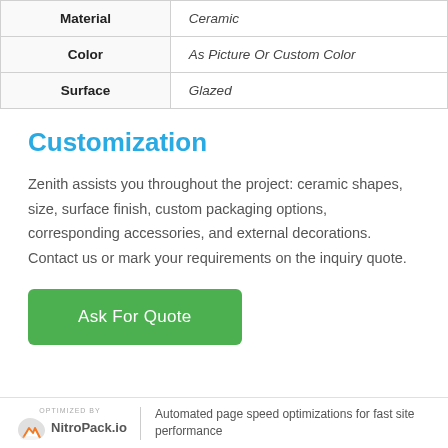|  |  |
| --- | --- |
| Material | Ceramic |
| Color | As Picture Or Custom Color |
| Surface | Glazed |
Customization
Zenith assists you throughout the project: ceramic shapes, size, surface finish, custom packaging options, corresponding accessories, and external decorations. Contact us or mark your requirements on the inquiry quote.
Ask For Quote
OPTIMIZED BY NitroPack.io | Automated page speed optimizations for fast site performance